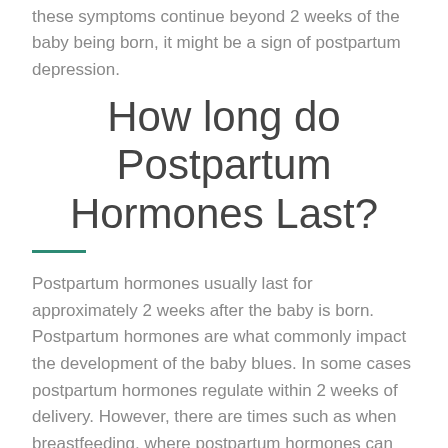these symptoms continue beyond 2 weeks of the baby being born, it might be a sign of postpartum depression.
How long do Postpartum Hormones Last?
Postpartum hormones usually last for approximately 2 weeks after the baby is born. Postpartum hormones are what commonly impact the development of the baby blues. In some cases postpartum hormones regulate within 2 weeks of delivery. However, there are times such as when breastfeeding, where postpartum hormones can fluctuate. Hormone levels are very individualized to each woman, and therefore it is hard to set a normalized timeframe. It is important to note that if you are concerned about your specific hormone levels to consult your family physician.